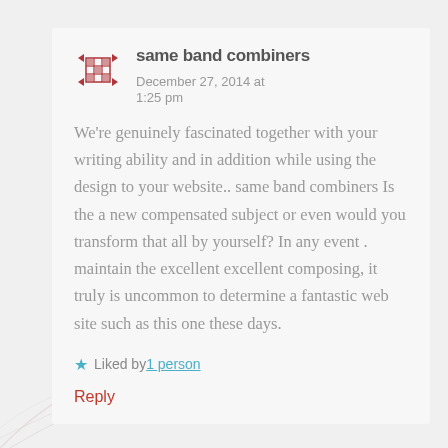same band combiners   December 27, 2014 at 1:25 pm
We're genuinely fascinated together with your writing ability and in addition while using the design to your website.. same band combiners Is the a new compensated subject or even would you transform that all by yourself? In any event . maintain the excellent excellent composing, it truly is uncommon to determine a fantastic web site such as this one these days.
★ Liked by 1 person
Reply